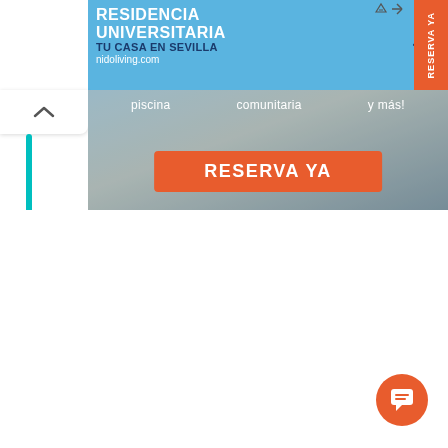[Figure (screenshot): Advertisement banner for Nido Living university residence in Sevilla. Blue background with text 'RESIDENCIA UNIVERSITARIA TU CASA EN SEVILLA nidoliving.com', Nido logo, and orange 'RESERVA YA' side button.]
[Figure (photo): Partial view of a room/living space with 'piscina comunitaria y más!' text overlay and large orange 'RESERVA YA' button.]
piscina   comunitaria   y más!
RESERVA YA